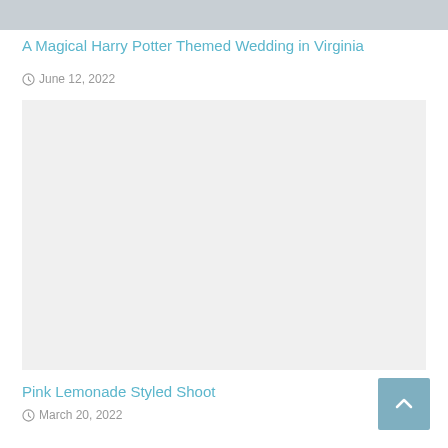[Figure (photo): Top cropped image, light gray background photo]
A Magical Harry Potter Themed Wedding in Virginia
June 12, 2022
[Figure (photo): Large blank/white image placeholder area]
Pink Lemonade Styled Shoot
March 20, 2022